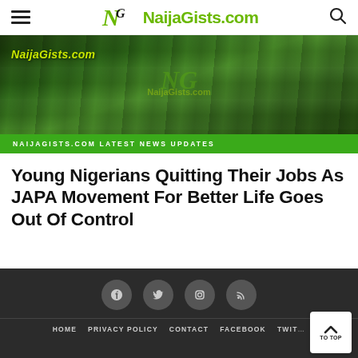NaijaGists.com
[Figure (photo): Group of young Nigerians gathered together, with a green NaijaGists.com watermark overlay and a green banner at the bottom reading NAIJAGISTS.COM LATEST NEWS UPDATES]
Young Nigerians Quitting Their Jobs As JAPA Movement For Better Life Goes Out Of Control
HOME  PRIVACY POLICY  CONTACT  FACEBOOK  TWITTER